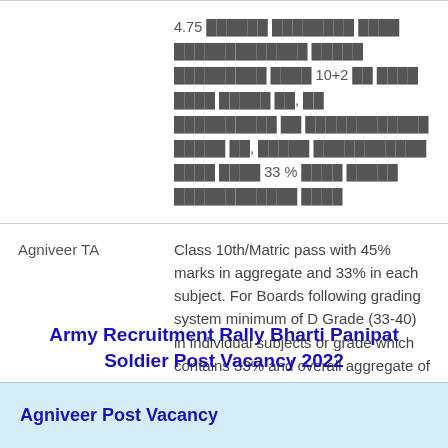| Post | Qualification |
| --- | --- |
|  | 4.75 [Hindi text] 10+2 [Hindi text] 33 % [Hindi text] |
| Agniveer TA | Class 10th/Matric pass with 45% marks in aggregate and 33% in each subject. For Boards following grading system minimum of D Grade (33-40) in individual subjects or grade which contains 33% and overall aggregate of C2 grade. Read More..... |
Army Recruitment Rally Bharti Panipat Soldier Post Vacancy 2022
Agniveer Post Vacancy